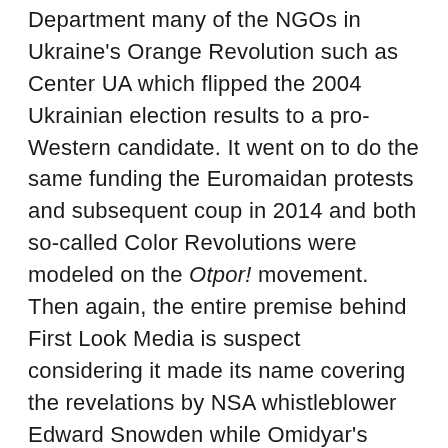Department many of the NGOs in Ukraine's Orange Revolution such as Center UA which flipped the 2004 Ukrainian election results to a pro-Western candidate. It went on to do the same funding the Euromaidan protests and subsequent coup in 2014 and both so-called Color Revolutions were modeled on the Otpor! movement. Then again, the entire premise behind First Look Media is suspect considering it made its name covering the revelations by NSA whistleblower Edward Snowden while Omidyar's eBay simultaneously owns Paypal, one of the biggest backers of NSA surveillance. What better way to commandeer dissent then to throw money at journalists?
Hussain also eagerly mentions that "Russian volunteers" participated in the killings at